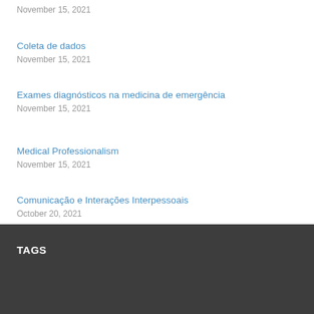November 15, 2021
Coleta de dados
November 15, 2021
Exames diagnósticos na medicina de emergência
November 15, 2021
Medical Professionalism
November 15, 2021
Comunicação e Interações Interpessoais
October 20, 2021
TAGS